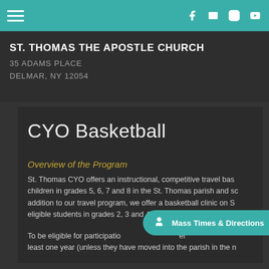ST. THOMAS THE APOSTLE CHURCH — 35 ADAMS PLACE, DELMAR, NY 12054
CYO Basketball
Overview of the Program
St. Thomas CYO offers an instructional, competitive travel bas... children in grades 5, 6, 7 and 8 in the St. Thomas parish and sc... addition to our travel program, we offer a basketball clinic on S... eligible students in grades 2, 3 and 4.  There are no try-outs for...
To be eligible for participatio... er... least one year (unless they have moved into the parish in the n...